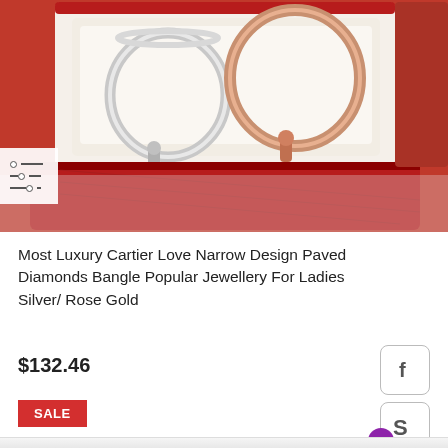[Figure (photo): Two luxury bangle bracelets (silver and rose gold, Cartier Love style with nail/screw design) displayed in an open red velvet jewelry box on a white/cream background.]
Most Luxury Cartier Love Narrow Design Paved Diamonds Bangle Popular Jewellery For Ladies Silver/ Rose Gold
$132.46
SALE